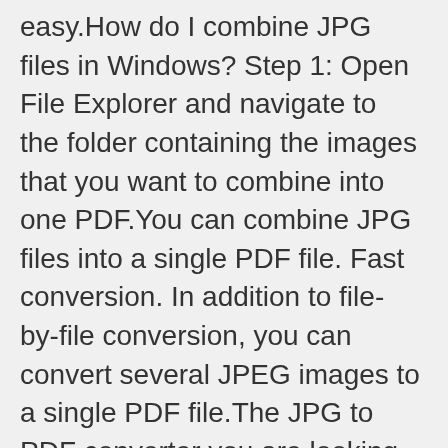easy.How do I combine JPG files in Windows? Step 1: Open File Explorer and navigate to the folder containing the images that you want to combine into one PDF.You can combine JPG files into a single PDF file. Fast conversion. In addition to file-by-file conversion, you can convert several JPEG images to a single PDF file.The JPG to PDF converter you are looking for: easy to use, fast, reliable and free. Select the JPG to convert on your device. Define the appearance of your PDF document: page format, etc.
Merge images - Combine JPG, PNG, SVG or WEBP files online